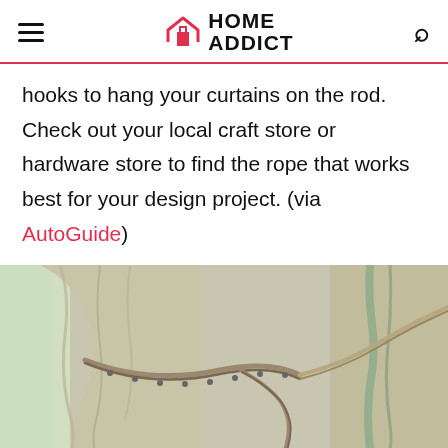HOME ADDICT
hooks to hang your curtains on the rod. Check out your local craft store or hardware store to find the rope that works best for your design project. (via AutoGuide)
[Figure (photo): Close-up photo of linen curtains gathered and tied with a decorative rope tasseled tieback against a neutral wall background]
Advertisement
We're Open and Here to Help CarMax